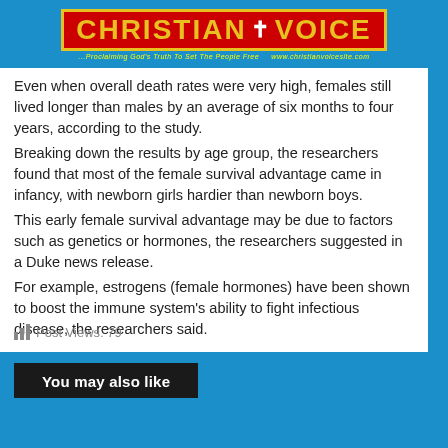CHRISTIAN VOICE — ...Proclaiming God's Truth To Set The People Free   www.christianvoicesite.com
Even when overall death rates were very high, females still lived longer than males by an average of six months to four years, according to the study.
Breaking down the results by age group, the researchers found that most of the female survival advantage came in infancy, with newborn girls hardier than newborn boys.
This early female survival advantage may be due to factors such as genetics or hormones, the researchers suggested in a Duke news release.
For example, estrogens (female hormones) have been shown to boost the immune system's ability to fight infectious disease, the researchers said.
Post Views: 79
You may also like